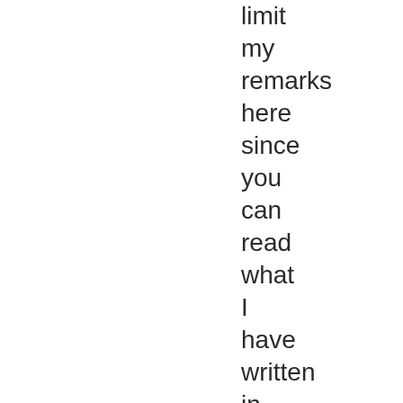limit my remarks here since you can read what I have written in other